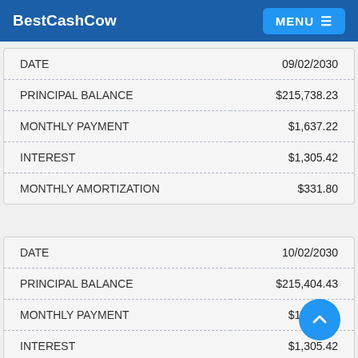BestCashCow MENU
|  |  |
| --- | --- |
| DATE | 09/02/2030 |
| PRINCIPAL BALANCE | $215,738.23 |
| MONTHLY PAYMENT | $1,637.22 |
| INTEREST | $1,305.42 |
| MONTHLY AMORTIZATION | $331.80 |
|  |  |
| --- | --- |
| DATE | 10/02/2030 |
| PRINCIPAL BALANCE | $215,404.43 |
| MONTHLY PAYMENT | $1,637.22 |
| INTEREST | $1,305.42 |
| MONTHLY AMORTIZATION | $333.80 |